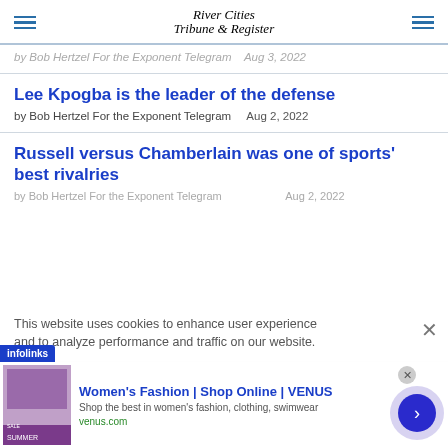River Cities Tribune & Register
by Bob Hertzel For the Exponent Telegram   Aug 3, 2022
Lee Kpogba is the leader of the defense
by Bob Hertzel For the Exponent Telegram   Aug 2, 2022
Russell versus Chamberlain was one of sports' best rivalries
by Bob Hertzel For the Exponent Telegram   Aug 2, 2022
This website uses cookies to enhance user experience and to analyze performance and traffic on our website.
Women's Fashion | Shop Online | VENUS
Shop the best in women's fashion, clothing, swimwear
venus.com